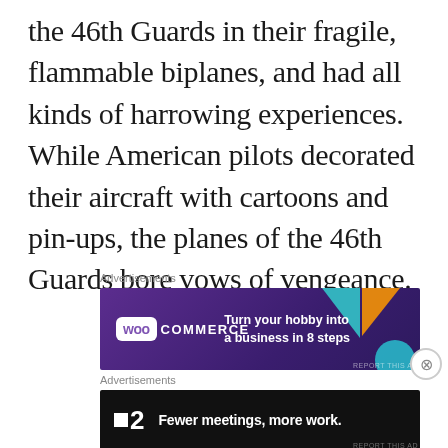the 46th Guards in their fragile, flammable biplanes, and had all kinds of harrowing experiences. While American pilots decorated their aircraft with cartoons and pin-ups, the planes of the 46th Guards bore vows of vengeance.
[Figure (other): WooCommerce advertisement banner: purple gradient background with teal and orange geometric shapes. Shows WooCommerce logo and text 'Turn your hobby into a business in 8 steps']
[Figure (other): Fewer meetings advertisement banner: black background with F2 logo and text 'Fewer meetings, more work.']